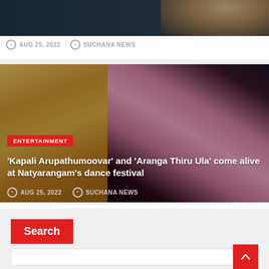[Figure (photo): Top portion of an article card showing a dark cityscape background with a face partially visible, AUG 25 2022 and SUCHANA NEWS metadata]
AUG 25, 2022   SUCHANA NEWS
[Figure (photo): Dance performance photo showing two classical Indian dancers — one in yellow costume on left, one in pink costume on right — against dark background]
ENTERTAINMENT
'Kapali Arupathumoovar' and 'Aranga Thiru Ula' come alive at Natyarangam's dance festival
AUG 25, 2022   SUCHANA NEWS
Search